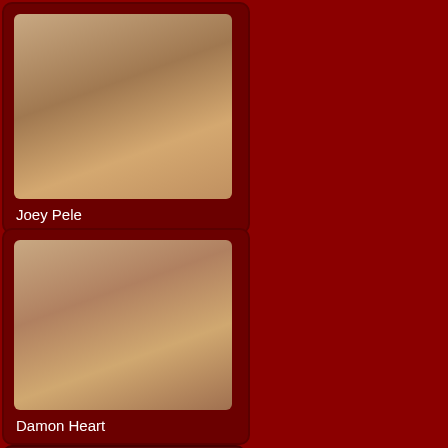[Figure (photo): Photo of Joey Pele]
Joey Pele
[Figure (photo): Photo of Damon Heart]
Damon Heart
Top Hot Amateurs
[Figure (photo): Partial photo of amateur model at bottom of page]